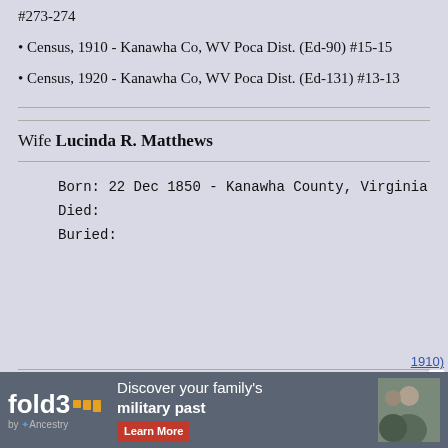#273-274
Census, 1910 - Kanawha Co, WV Poca Dist. (Ed-90) #15-15
Census, 1920 - Kanawha Co, WV Poca Dist. (Ed-131) #13-13
Wife Lucinda R. Matthews
Born: 22 Dec 1850 - Kanawha County, Virginia
Died:
Buried:
[Figure (screenshot): fold3 by Ancestry advertisement banner: 'Discover your family's military past' with Learn More button and soldier photograph]
1910)